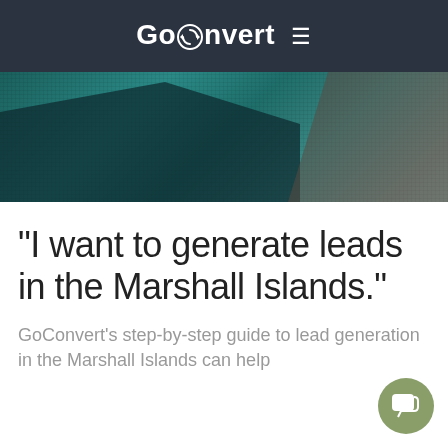GoConvert
[Figure (photo): Dark teal/green hero banner image with grid overlay texture, dark shadowed shapes suggesting landscape or abstract background]
"I want to generate leads in the Marshall Islands."
GoConvert's step-by-step guide to lead generation in the Marshall Islands can help